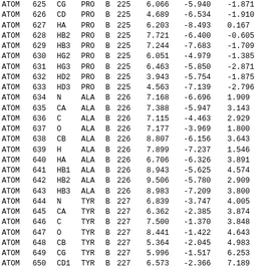|  |  |  |  |  |  |  | x | y | z |
| --- | --- | --- | --- | --- | --- | --- | --- | --- | --- |
| ATOM | 625 | CG | PRO | B | 225 |  | 6.066 | -5.940 | -1.871 |
| ATOM | 626 | CD | PRO | B | 225 |  | 4.689 | -6.534 | -1.910 |
| ATOM | 627 | HA | PRO | B | 225 |  | 6.203 | -8.493 | 0.167 |
| ATOM | 628 | HB2 | PRO | B | 225 |  | 7.721 | -6.400 | -0.605 |
| ATOM | 629 | HB3 | PRO | B | 225 |  | 7.244 | -7.683 | -1.709 |
| ATOM | 630 | HG2 | PRO | B | 225 |  | 6.051 | -4.979 | -1.385 |
| ATOM | 631 | HG3 | PRO | B | 225 |  | 6.463 | -5.850 | -2.871 |
| ATOM | 632 | HD2 | PRO | B | 225 |  | 3.943 | -5.754 | -1.875 |
| ATOM | 633 | HD3 | PRO | B | 225 |  | 4.563 | -7.139 | -2.796 |
| ATOM | 634 | N | ALA | B | 226 |  | 7.168 | -6.696 | 1.909 |
| ATOM | 635 | CA | ALA | B | 226 |  | 7.388 | -5.947 | 3.143 |
| ATOM | 636 | C | ALA | B | 226 |  | 7.115 | -4.463 | 2.929 |
| ATOM | 637 | O | ALA | B | 226 |  | 7.177 | -3.969 | 1.800 |
| ATOM | 638 | CB | ALA | B | 226 |  | 8.807 | -6.156 | 3.643 |
| ATOM | 639 | H | ALA | B | 226 |  | 7.899 | -7.237 | 1.546 |
| ATOM | 640 | HA | ALA | B | 226 |  | 6.706 | -6.326 | 3.891 |
| ATOM | 641 | HB1 | ALA | B | 226 |  | 8.943 | -5.625 | 4.574 |
| ATOM | 642 | HB2 | ALA | B | 226 |  | 9.506 | -5.780 | 2.909 |
| ATOM | 643 | HB3 | ALA | B | 226 |  | 8.983 | -7.209 | 3.800 |
| ATOM | 644 | N | TYR | B | 227 |  | 6.839 | -3.747 | 4.005 |
| ATOM | 645 | CA | TYR | B | 227 |  | 6.362 | -2.385 | 3.874 |
| ATOM | 646 | C | TYR | B | 227 |  | 7.500 | -1.370 | 3.848 |
| ATOM | 647 | O | TYR | B | 227 |  | 8.441 | -1.422 | 4.643 |
| ATOM | 648 | CB | TYR | B | 227 |  | 5.364 | -2.045 | 4.983 |
| ATOM | 649 | CG | TYR | B | 227 |  | 5.996 | -1.517 | 6.253 |
| ATOM | 650 | CD1 | TYR | B | 227 |  | 6.573 | -2.366 | 7.189 |
| ATOM | 651 | CD2 | TYR | B | 227 |  | 6.028 | -0.157 | 6.502 |
| ATOM | 652 | CE1 | TYR | B | 227 |  | 7.161 | -1.863 | 8.338 |
| ATOM | 653 | CE2 | TYR | B | 227 |  | 6.608 | 0.352 | 7.640 |
| ATOM | 654 | CZ | TYR | B | 227 |  | 7.175 | -0.501 | 8.557 |